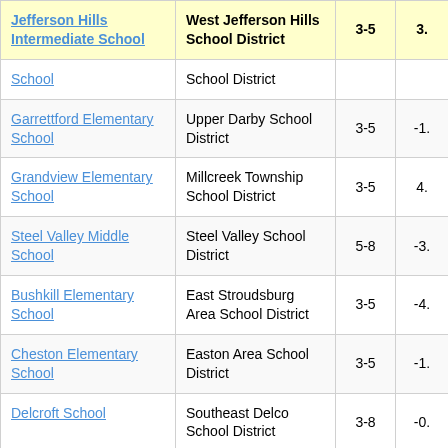| School | District | Grades | Score |
| --- | --- | --- | --- |
| Jefferson Hills Intermediate School | West Jefferson Hills School District | 3-5 | 3. |
| School | School District |  |  |
| Garrettford Elementary School | Upper Darby School District | 3-5 | -1. |
| Grandview Elementary School | Millcreek Township School District | 3-5 | 4. |
| Steel Valley Middle School | Steel Valley School District | 5-8 | -3. |
| Bushkill Elementary School | East Stroudsburg Area School District | 3-5 | -4. |
| Cheston Elementary School | Easton Area School District | 3-5 | -1. |
| Delcroft School | Southeast Delco School District | 3-8 | -0. |